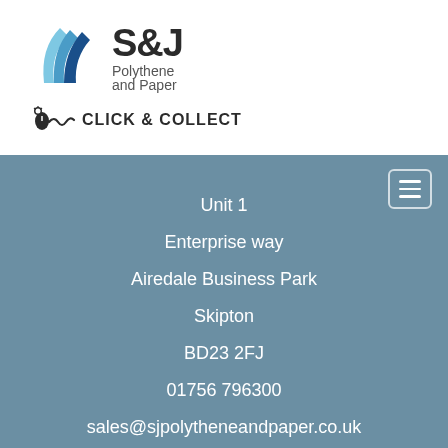[Figure (logo): S&J Polythene and Paper logo with blue layered fan/pages graphic and Click & Collect badge]
Unit 1
Enterprise way
Airedale Business Park
Skipton
BD23 2FJ
01756 796300
sales@sjpolytheneandpaper.co.uk